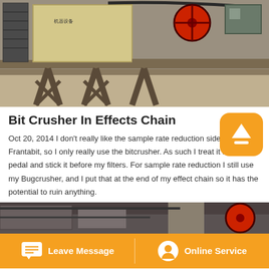[Figure (photo): Industrial jaw crusher machine on elevated metal frame structure with red flywheel, motor, stairs, and conveyor belt at a mining/quarry site]
Bit Crusher In Effects Chain
Oct 20, 2014 I don't really like the sample rate reduction side of Frantabit, so I only really use the bitcrusher. As such I treat it as a fuzz pedal and stick it before my filters. For sample rate reduction I still use my Bugcrusher, and I put that at the end of my effect chain so it has the potential to ruin anything.
[Figure (photo): Partial view of industrial crushing machinery with red wheel visible at quarry site]
Leave Message   Online Service